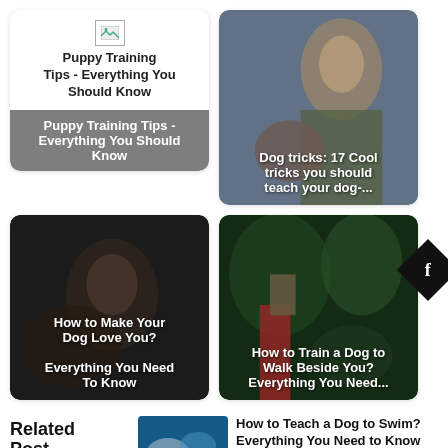[Figure (screenshot): Card with broken image placeholder and text: Puppy Training Tips - Everything You Should Know, with gray overlay caption]
[Figure (photo): Card with photo of woman with dog and overlay text: Dog tricks: 17 Cool tricks you should teach your dog-...]
[Figure (photo): Card with dark photo and overlay text: How to Make Your Dog Love You? Everything You Need To Know]
[Figure (photo): Card with outdoor forest photo and overlay text: How to Train a Dog to Walk Beside You? Everything You Need...]
Related Post
[Figure (photo): Thumbnail of dog swimming]
How to Teach a Dog to Swim? Everything You Need to Know
Read more